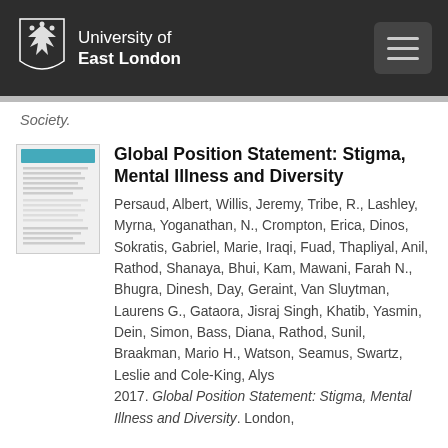University of East London
Society.
Global Position Statement: Stigma, Mental Illness and Diversity
Persaud, Albert, Willis, Jeremy, Tribe, R., Lashley, Myrna, Yoganathan, N., Crompton, Erica, Dinos, Sokratis, Gabriel, Marie, Iraqi, Fuad, Thapliyal, Anil, Rathod, Shanaya, Bhui, Kam, Mawani, Farah N., Bhugra, Dinesh, Day, Geraint, Van Sluytman, Laurens G., Gataora, Jisraj Singh, Khatib, Yasmin, Dein, Simon, Bass, Diana, Rathod, Sunil, Braakman, Mario H., Watson, Seamus, Swartz, Leslie and Cole-King, Alys 2017. Global Position Statement: Stigma, Mental Illness and Diversity. London,